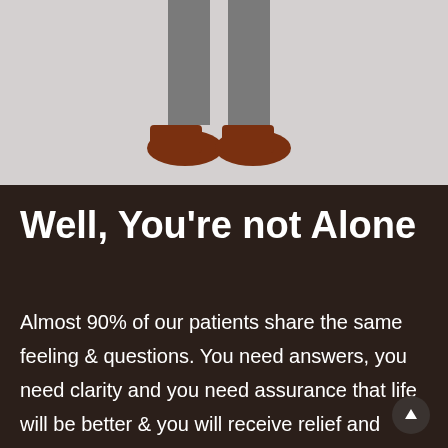[Figure (illustration): Lower half of a cartoon person illustration showing gray pants/legs and brown shoes on a light gray background]
Well, You're not Alone
Almost 90% of our patients share the same feeling & questions. You need answers, you need clarity and you need assurance that life will be better & you will receive relief and